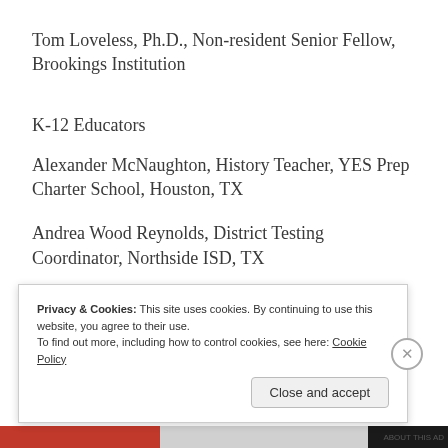Tom Loveless, Ph.D., Non-resident Senior Fellow, Brookings Institution
K-12 Educators
Alexander McNaughton, History Teacher, YES Prep Charter School, Houston, TX
Andrea Wood Reynolds, District Testing Coordinator, Northside ISD, TX
Privacy & Cookies: This site uses cookies. By continuing to use this website, you agree to their use.
To find out more, including how to control cookies, see here: Cookie Policy
Close and accept